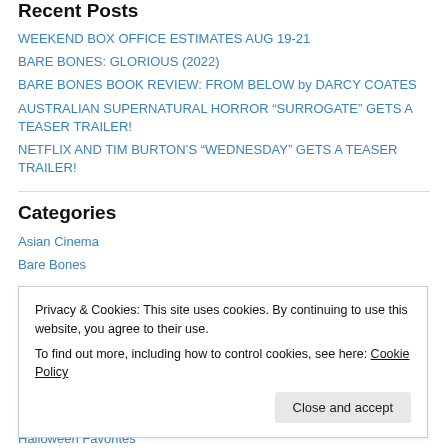Recent Posts
WEEKEND BOX OFFICE ESTIMATES AUG 19-21
BARE BONES: GLORIOUS (2022)
BARE BONES BOOK REVIEW: FROM BELOW by DARCY COATES
AUSTRALIAN SUPERNATURAL HORROR “SURROGATE” GETS A TEASER TRAILER!
NETFLIX AND TIM BURTON’S “WEDNESDAY” GETS A TEASER TRAILER!
Categories
Asian Cinema
Bare Bones
Privacy & Cookies: This site uses cookies. By continuing to use this website, you agree to their use.
To find out more, including how to control cookies, see here: Cookie Policy
Close and accept
Halloween Favorites